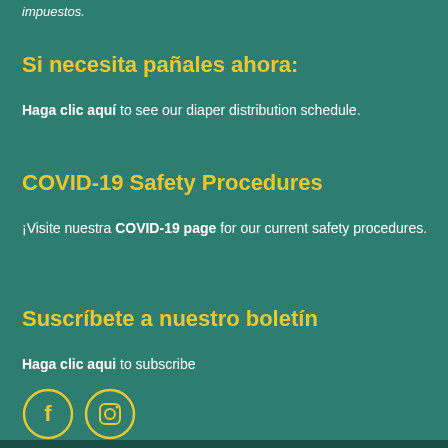impuestos.
Si necesita pañales ahora:
Haga clic aquí to see our diaper distribution schedule.
COVID-19 Safety Procedures
¡Visite nuestra COVID-19 page for our current safety procedures.
Suscríbete a nuestro boletín
Haga clic aqui to subscribe
[Figure (illustration): Facebook and Instagram social media icons in yellow circles]